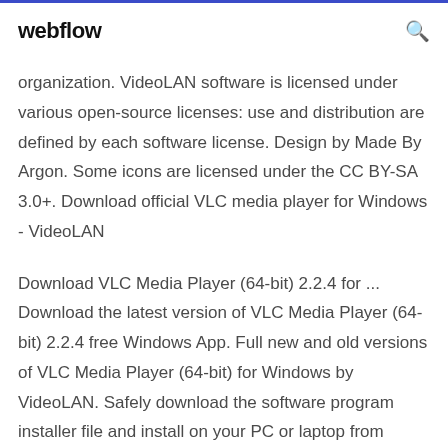webflow [search icon]
organization. VideoLAN software is licensed under various open-source licenses: use and distribution are defined by each software license. Design by Made By Argon. Some icons are licensed under the CC BY-SA 3.0+. Download official VLC media player for Windows - VideoLAN
Download VLC Media Player (64-bit) 2.2.4 for ... Download the latest version of VLC Media Player (64-bit) 2.2.4 free Windows App. Full new and old versions of VLC Media Player (64-bit) for Windows by VideoLAN. Safely download the software program installer file and install on your PC or laptop from Appraw. Download VLC